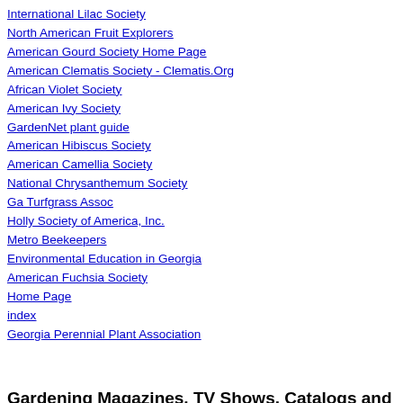International Lilac Society
North American Fruit Explorers
American Gourd Society Home Page
American Clematis Society - Clematis.Org
African Violet Society
American Ivy Society
GardenNet plant guide
American Hibiscus Society
American Camellia Society
National Chrysanthemum Society
Ga Turfgrass Assoc
Holly Society of America, Inc.
Metro Beekeepers
Environmental Education in Georgia
American Fuchsia Society
Home Page
index
Georgia Perennial Plant Association
Gardening Magazines, TV Shows, Catalogs and Web Sites
Dr Greenfingers, Reception desk